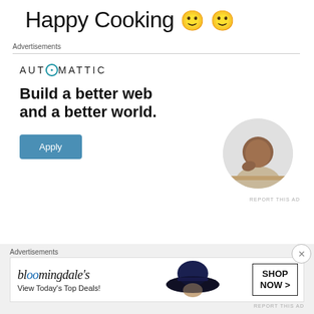Happy Cooking 🙂 🙂
Advertisements
[Figure (infographic): Automattic advertisement: logo at top, headline 'Build a better web and a better world.', Apply button, circular photo of a man thinking at a desk]
REPORT THIS AD
Advertisements
[Figure (infographic): Bloomingdale's banner ad: logo, 'View Today's Top Deals!', woman in wide-brim hat, SHOP NOW > button]